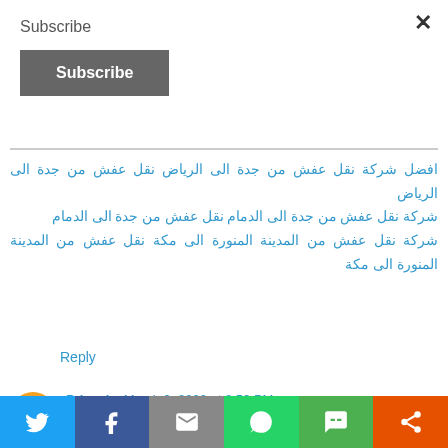Subscribe
Subscribe (button)
افضل شركة نقل عفش من جدة الى الرياض نقل عفش من جدة الى الرياض شركة نقل عفش من جدة الى الدمام نقل عفش من جدة الى الدمام شركة نقل عفش من المدينة المنورة الى مكة نقل عفش من المدينة المنورة الى مكة
Reply
Priyanka March 9, 2020 at 8:50 PM — Attend The Bangalore Digital Marketing Course From ExcelR.